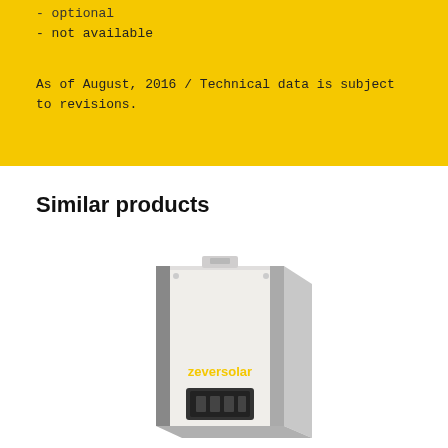- optional
- not available
As of August, 2016 / Technical data is subject to revisions.
Similar products
[Figure (photo): Photo of a white Zeversolar solar inverter unit with grey sides, mounting bracket, and yellow Zeversolar logo on the front panel.]